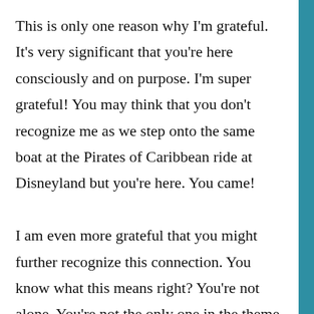This is only one reason why I'm grateful. It's very significant that you're here consciously and on purpose. I'm super grateful! You may think that you don't recognize me as we step onto the same boat at the Pirates of Caribbean ride at Disneyland but you're here. You came!

I am even more grateful that you might further recognize this connection. You know what this means right? You're not alone. You're not the only one in the theme park wandering around trying to find your family. Yes, your family brought you in but they may or may not be